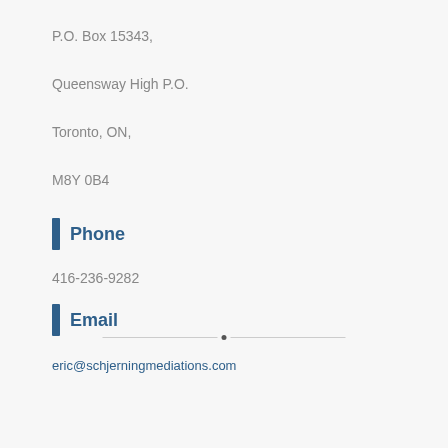P.O. Box 15343,
Queensway High P.O.
Toronto, ON,
M8Y 0B4
Phone
416-236-9282
Email
eric@schjerningmediations.com